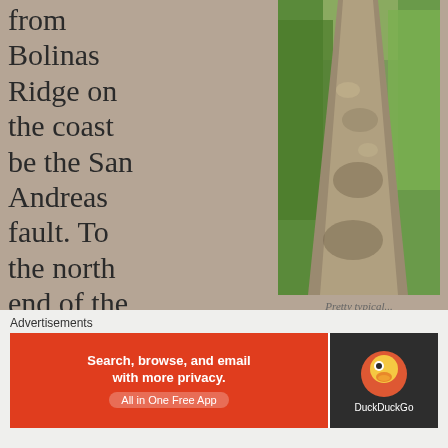from Bolinas Ridge on the coast be the San Andreas fault. To the north end of the peninsula, that fault line is submerged by Tomales Bay. To the south it runs roughly under Highway 1. Point
[Figure (photo): A dirt trail path with green grass and vegetation on both sides, dappled with sunlight and shadows]
Pretty typical...
Advertisements
[Figure (screenshot): DuckDuckGo advertisement banner: 'Search, browse, and email with more privacy. All in One Free App' with DuckDuckGo logo on dark background]